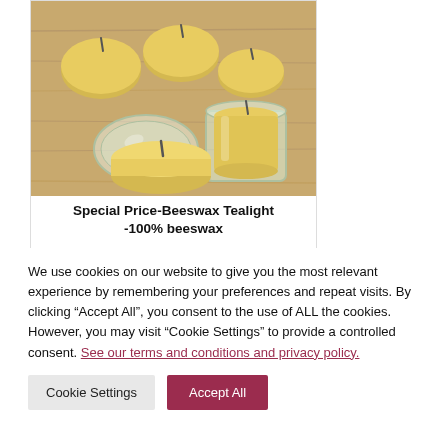[Figure (photo): Beeswax tealight candles in small glass jars on a wooden surface, some candles outside the jars]
Special Price-Beeswax Tealight -100% beeswax
We use cookies on our website to give you the most relevant experience by remembering your preferences and repeat visits. By clicking “Accept All”, you consent to the use of ALL the cookies. However, you may visit "Cookie Settings" to provide a controlled consent. See our terms and conditions and privacy policy.